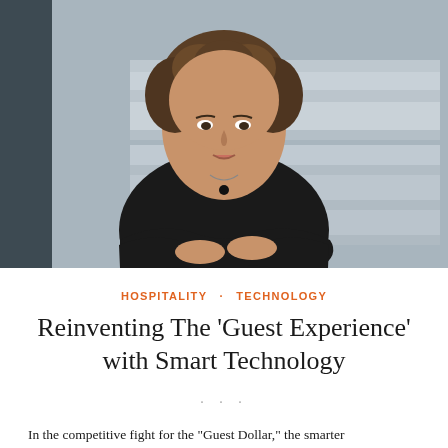[Figure (photo): Professional headshot of a woman with short curly hair wearing a black blazer, arms crossed, standing in an office environment with blurred background shelving.]
HOSPITALITY · TECHNOLOGY
Reinventing The 'Guest Experience' with Smart Technology
In the competitive fight for the "Guest Dollar," the smarter